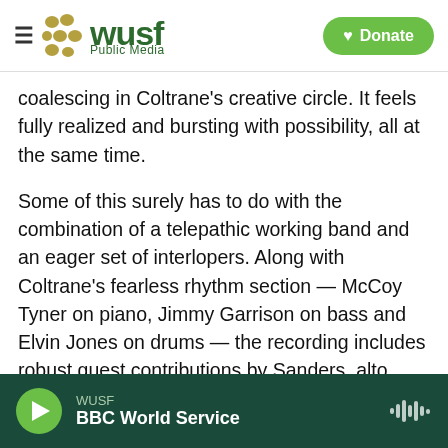WUSF Public Media — Donate
coalescing in Coltrane's creative circle. It feels fully realized and bursting with possibility, all at the same time.
Some of this surely has to do with the combination of a telepathic working band and an eager set of interlopers. Along with Coltrane's fearless rhythm section — McCoy Tyner on piano, Jimmy Garrison on bass and Elvin Jones on drums — the recording includes robust guest contributions by Sanders, alto saxophonist Carlos Ward and a second bassist, Donald "Rafael" Garrett. The chemistry among this cohort is fearsome, and by no means a settled
WUSF / BBC World Service